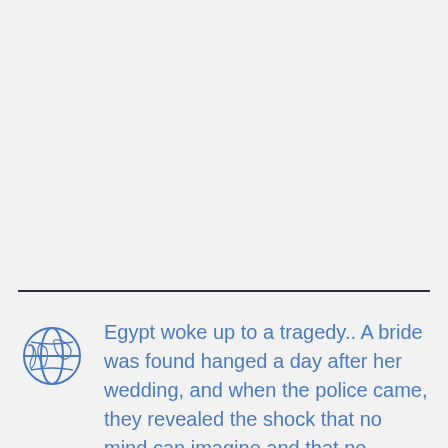[Figure (illustration): Globe icon in blue outline style, showing world map continents]
Egypt woke up to a tragedy.. A bride was found hanged a day after her wedding, and when the police came, they revealed the shock that no mind can imagine and that no